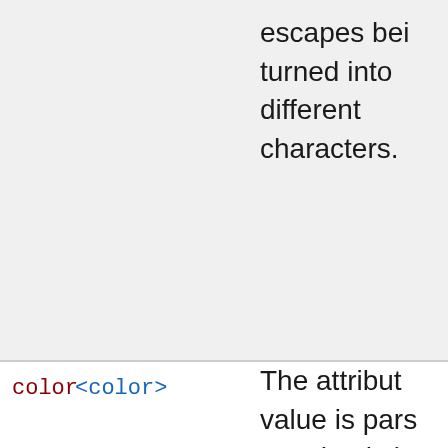| Attribute | Type | Description |
| --- | --- | --- |
|  |  | escapes being turned into different characters. |
| color | <color> | The attribute value is parsed as a hash (3 or 6-value hash) or a keyword. It must be a valid CSS <string> value.
Leading and... |